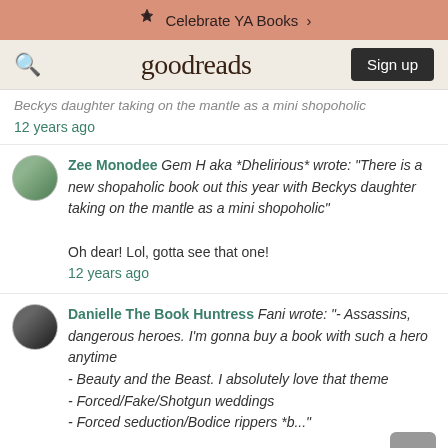✳ Celebrate YA Books ›
goodreads — Sign up
Beckys daughter taking on the mantle as a mini shopoholic
12 years ago
Zee Monodee Gem H aka *Dhelirious* wrote: "There is a new shopaholic book out this year with Beckys daughter taking on the mantle as a mini shopoholic"

Oh dear! Lol, gotta see that one!
12 years ago
Danielle The Book Huntress Fani wrote: "- Assassins, dangerous heroes. I'm gonna buy a book with such a hero anytime
- Beauty and the Beast. I absolutely love that theme
- Forced/Fake/Shotgun weddings
- Forced seduction/Bodice rippers *b..."

Fani, your list sounds like mine! :)